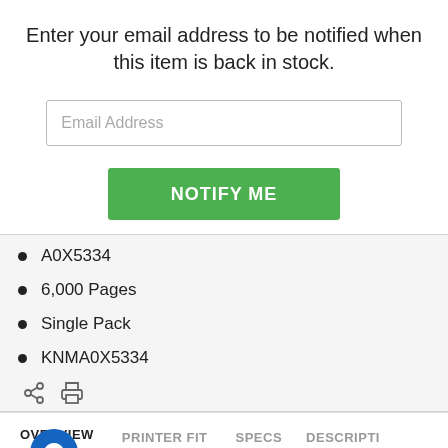Enter your email address to be notified when this item is back in stock.
[Figure (screenshot): Email address input field with placeholder text 'Email Address']
[Figure (screenshot): Green 'NOTIFY ME' button]
A0X5334
6,000 Pages
Single Pack
KNMA0X5334
[Figure (screenshot): Share and print icons]
[Figure (screenshot): Navigation tabs: OVERVIEW (active), PRINTER FIT, SPECS, DESCRIPTI (truncated); chat bubble icon; blue bar at bottom]